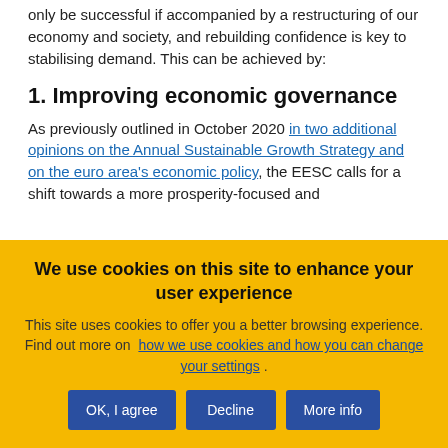only be successful if accompanied by a restructuring of our economy and society, and rebuilding confidence is key to stabilising demand. This can be achieved by:
1. Improving economic governance
As previously outlined in October 2020 in two additional opinions on the Annual Sustainable Growth Strategy and on the euro area's economic policy, the EESC calls for a shift towards a more prosperity-focused and
We use cookies on this site to enhance your user experience
This site uses cookies to offer you a better browsing experience. Find out more on how we use cookies and how you can change your settings .